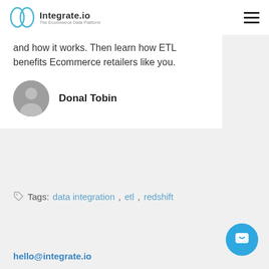Integrate.io — The Ecommerce Data Platform
and how it works. Then learn how ETL benefits Ecommerce retailers like you.
Donal Tobin
Tags: data integration, etl, redshift
hello@integrate.io